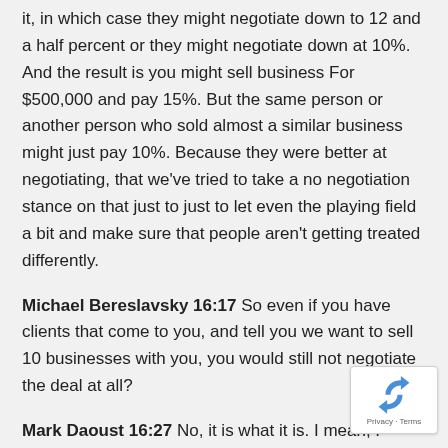it, in which case they might negotiate down to 12 and a half percent or they might negotiate down at 10%. And the result is you might sell business For $500,000 and pay 15%. But the same person or another person who sold almost a similar business might just pay 10%. Because they were better at negotiating, that we've tried to take a no negotiation stance on that just to just to let even the playing field a bit and make sure that people aren't getting treated differently.
Michael Bereslavsky 16:17 So even if you have clients that come to you, and tell you we want to sell 10 businesses with you, you would still not negotiate the deal at all?
Mark Daoust 16:27 No, it is what it is. I mean, I